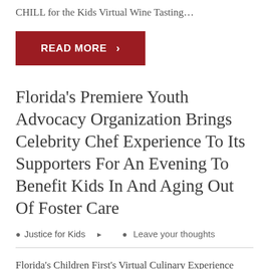CHILL for the Kids Virtual Wine Tasting…
READ MORE ›
Florida's Premiere Youth Advocacy Organization Brings Celebrity Chef Experience To Its Supporters For An Evening To Benefit Kids In And Aging Out Of Foster Care
Justice for Kids   Leave your thoughts
Florida's Children First's Virtual Culinary Experience Hosted by Food Network Favorite Florida's Children First (FCF), an award-winning non-profit organization dedicated to advancing the